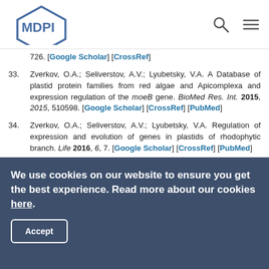MDPI logo with search and menu icons
726. [Google Scholar] [CrossRef]
33. Zverkov, O.A.; Seliverstov, A.V.; Lyubetsky, V.A. A Database of plastid protein families from red algae and Apicomplexa and expression regulation of the moeB gene. BioMed Res. Int. 2015, 2015, 510598. [Google Scholar] [CrossRef] [PubMed]
34. Zverkov, O.A.; Seliverstov, A.V.; Lyubetsky, V.A. Regulation of expression and evolution of genes in plastids of rhodophytic branch. Life 2016, 6, 7. [Google Scholar] [CrossRef] [PubMed]
35. Edgar, R.C. MUSCLE: Multiple sequence alignment with
We use cookies on our website to ensure you get the best experience. Read more about our cookies here. Accept